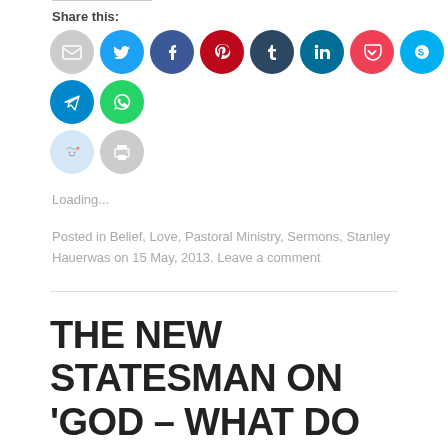Share this:
[Figure (infographic): Row of social sharing icon circles: email (gray), Twitter (blue), Facebook (blue), Pinterest (red), Tumblr (dark navy), LinkedIn (dark teal), Pocket (red), Skype (light blue), Telegram (blue), WhatsApp (green), Reddit (light blue), Print (gray)]
Loading...
Posted in Belief, Love, Pastoral Ministry, Sermons, Stanley Hauerwas on 15 May, 2013. Leave a comment
THE NEW STATESMAN ON 'GOD – WHAT DO WE